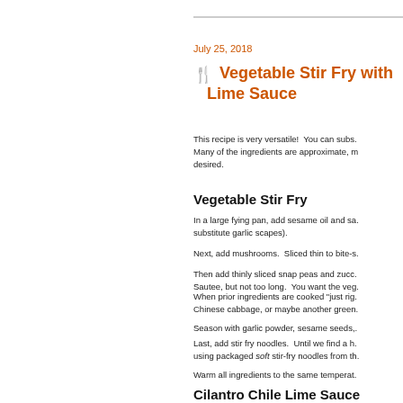July 25, 2018
Vegetable Stir Fry with Cilantro Chile Lime Sauce
This recipe is very versatile!  You can subs. Many of the ingredients are approximate, more or less as desired.
Vegetable Stir Fry
In a large fying pan, add sesame oil and sa. substitute garlic scapes).
Next, add mushrooms.  Sliced thin to bite-s.
Then add thinly sliced snap peas and zucc. Sautee, but not too long.  You want the veg.
When prior ingredients are cooked "just rig. Chinese cabbage, or maybe another green.
Season with garlic powder, sesame seeds,.
Last, add stir fry noodles.  Until we find a h. using packaged soft stir-fry noodles from th.
Warm all ingredients to the same temperat.
Cilantro Chile Lime Sauce